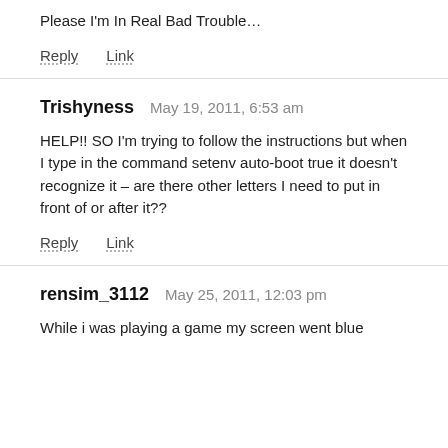Please I'm In Real Bad Trouble…
Reply   Link
Trishyness  May 19, 2011, 6:53 am
HELP!! SO I'm trying to follow the instructions but when I type in the command setenv auto-boot true it doesn't recognize it – are there other letters I need to put in front of or after it??
Reply   Link
rensim_3112  May 25, 2011, 12:03 pm
While i was playing a game my screen went blue